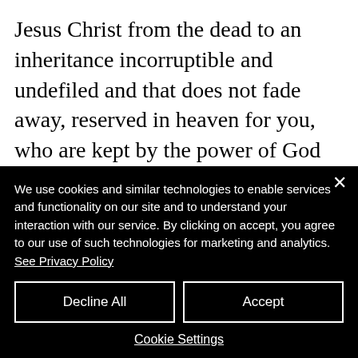Jesus Christ from the dead to an inheritance incorruptible and undefiled and that does not fade away, reserved in heaven for you, who are kept by the power of God through faith for salvation ready to be revealed in the last time. In this you greatly rejoice, though now for a little while, if need be, you have
We use cookies and similar technologies to enable services and functionality on our site and to understand your interaction with our service. By clicking on accept, you agree to our use of such technologies for marketing and analytics. See Privacy Policy
Decline All
Accept
Cookie Settings